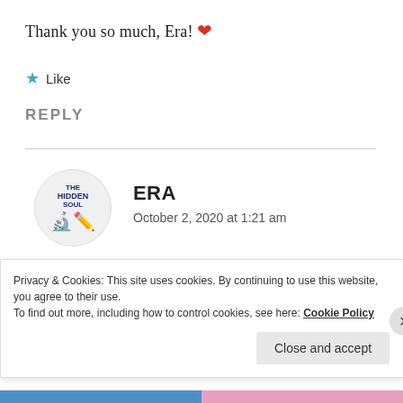Thank you so much, Era! ❤
★ Like
REPLY
[Figure (illustration): Circular avatar image for 'The Hidden Soul' blog, showing text 'THE HIDDEN SOUL' with a pencil/glasses icon on white background]
ERA
October 2, 2020 at 1:21 am
Pleasure always 💙
Privacy & Cookies: This site uses cookies. By continuing to use this website, you agree to their use.
To find out more, including how to control cookies, see here: Cookie Policy
Close and accept